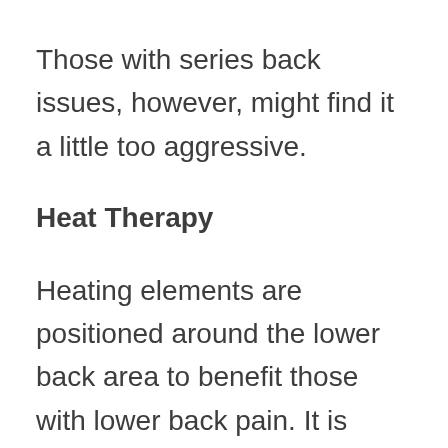Those with series back issues, however, might find it a little too aggressive.
Heat Therapy
Heating elements are positioned around the lower back area to benefit those with lower back pain. It is however disappointing